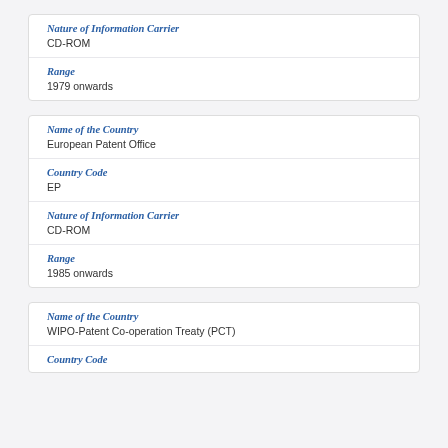Nature of Information Carrier
CD-ROM
Range
1979 onwards
Name of the Country
European Patent Office
Country Code
EP
Nature of Information Carrier
CD-ROM
Range
1985 onwards
Name of the Country
WIPO-Patent Co-operation Treaty (PCT)
Country Code